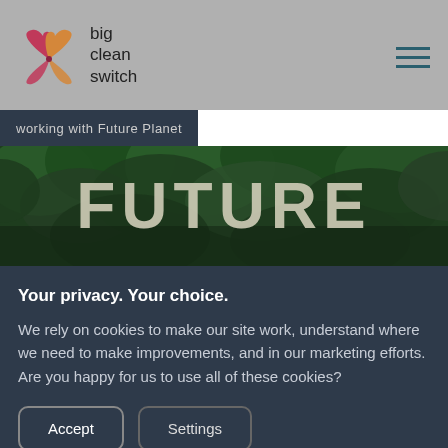[Figure (logo): Big Clean Switch logo — butterfly/heart shape in pink and orange/yellow gradient, with text 'big clean switch' beside it]
working with Future Planet
[Figure (photo): Aerial view of dense green forest canopy with large text 'FUTURE' overlaid in pale/cream bold uppercase letters]
Your privacy. Your choice.
We rely on cookies to make our site work, understand where we need to make improvements, and in our marketing efforts. Are you happy for us to use all of these cookies?
Accept
Settings